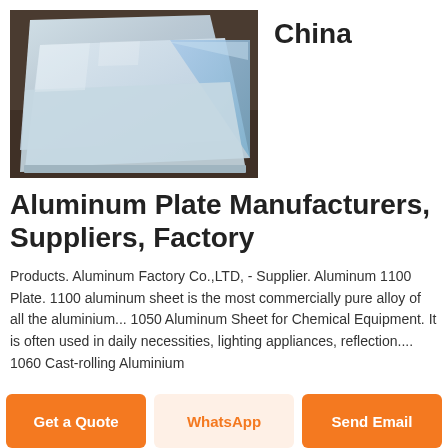[Figure (photo): Aluminum plates/sheets stacked on a dark surface, one with a blue protective film corner peeling back, showing shiny metallic surfaces]
China
Aluminum Plate Manufacturers, Suppliers, Factory
Products. Aluminum Factory Co.,LTD, - Supplier. Aluminum 1100 Plate. 1100 aluminum sheet is the most commercially pure alloy of all the aluminium... 1050 Aluminum Sheet for Chemical Equipment. It is often used in daily necessities, lighting appliances, reflection.... 1060 Cast-rolling Aluminium
Get a Quote
WhatsApp
Send Email